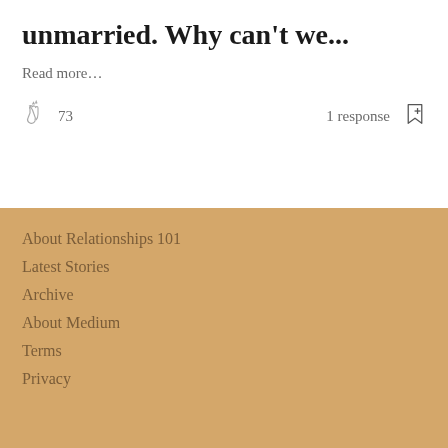unmarried. Why can't we...
Read more…
73  1 response
About Relationships 101
Latest Stories
Archive
About Medium
Terms
Privacy